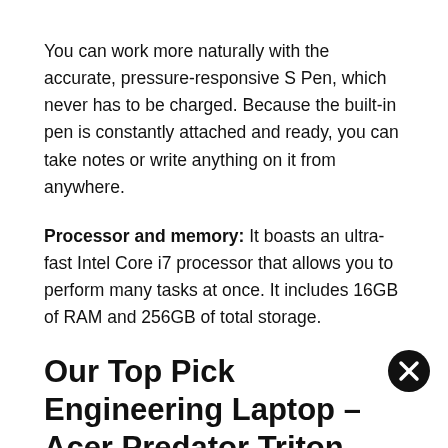You can work more naturally with the accurate, pressure-responsive S Pen, which never has to be charged. Because the built-in pen is constantly attached and ready, you can take notes or write anything on it from anywhere.
Processor and memory: It boasts an ultra-fast Intel Core i7 processor that allows you to perform many tasks at once. It includes 16GB of RAM and 256GB of total storage.
Our Top Pick Engineering Laptop – Acer Predator Triton
The . Lapt                                                                 ning their thoughts by playing games while also being